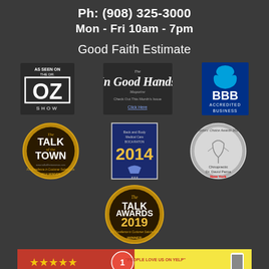Ph: (908) 325-3000
Mon - Fri 10am - 7pm
Good Faith Estimate
[Figure (logo): As Seen On The Dr. OZ Show logo]
[Figure (logo): The In Good Hands Magazine - Check Out This Month's Issue - Click Here]
[Figure (logo): BBB Accredited Business logo]
[Figure (logo): The Talk of the Town - For Excellence in Customer Satisfaction - 2014 Winner badge]
[Figure (logo): Back and Body Medical Care BOCA RATON 2014 award plaque]
[Figure (logo): Doctors Choice Awards 2015 - Chiropractic - Dr. David Perna - New York medallion]
[Figure (logo): The Talk Awards 2019 - For Excellence in Customer Satisfaction - Winner badge]
[Figure (logo): Yelp review strip - People Love Us On Yelp]